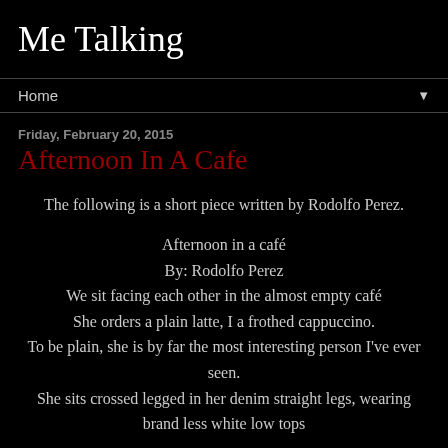Me Talking
Home ▼
Friday, February 20, 2015
Afternoon In A Cafe
The following is a short piece written by Rodolfo Perez.
Afternoon in a café
By: Rodolfo Perez
We sit facing each other in the almost empty café
She orders a plain latte, I a frothed cappuccino.
To be plain, she is by far the most interesting person I've ever seen.
She sits crossed legged in her denim straight legs, wearing brand less white low tops